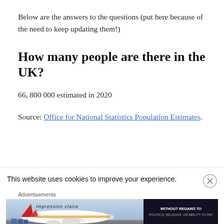Below are the answers to the questions (put here because of the need to keep updating them!)
How many people are there in the UK?
66, 800 000 estimated in 2020
Source: Office for National Statistics Population Estimates.
This website uses cookies to improve your experience.
[Figure (photo): Advertisement banner showing a cargo airplane being loaded, with text 'WITHOUT REGARD TO POLITICS, RELIGION, OR ABILITY TO PAY' on the right side.]